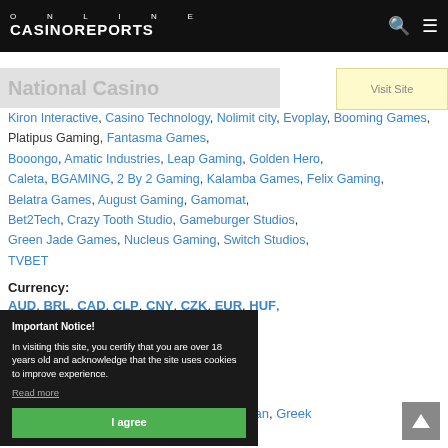ONLINE CASINOREPORTS
Kiron Interactive, Casino Technology, Nolimit city, Evoplay, Booming Games, Platipus Gaming, Fantasma Games, Booongo, Amatic Industries, Leap Gaming, Golden Hero, Caleta, BGAMING, 2 By 2 Gaming, Kalamba Games, Felix Gaming, Belatra Games, August Gaming, Gamomat, Bet2Tech, Crazy Tooth Studio, Gameburger Studios, Green Jade Games, Nucleus Gaming, Switch Studios, TVBET
Currency:
AUD, BRL, CAD, CLP, CNY, CZK, EUR, HUF, KWD, MXN, NOK, PEN, PLN, RUB, SEK, THB, USD, ZAR, NZD
Important Notice! In visiting this site, you certify that you are over 18 years old and acknowledge that the site uses cookies to improve experience. Read more / I agree
Languages:
Brazilian Portugues, Czech, English, German, Greek